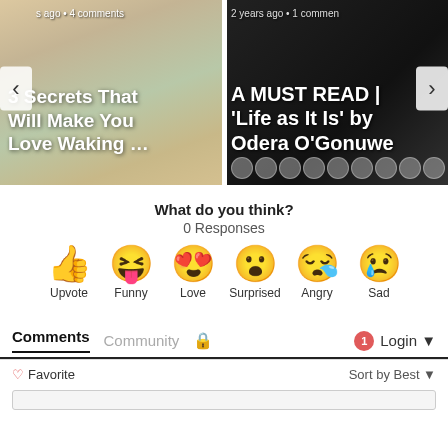[Figure (screenshot): Carousel showing two article cards: left card with pink flowers titled '3 Secrets That Will Make You Love Waking …' (s ago · 4 comments), right card with dark background titled 'A MUST READ | 'Life as It Is' by Odera O'Gonuwe' (2 years ago · 1 commen). Left/right navigation arrows visible.]
What do you think?
0 Responses
[Figure (infographic): Row of 6 reaction emojis: Upvote (thumbs up), Funny (laughing face with tongue), Love (heart eyes), Surprised (open mouth), Angry (sleepy/angry), Sad (crying face)]
Comments   Community   🔒   1   Login ▾
♡ Favorite   Sort by Best ▾